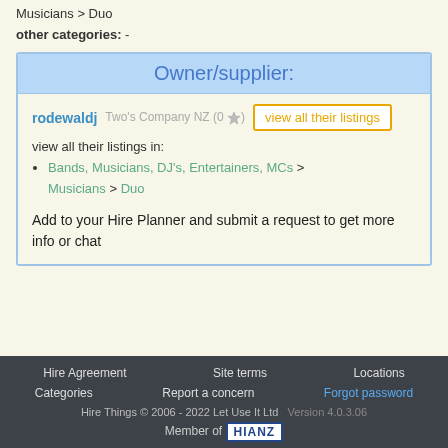Musicians > Duo
other categories: -
Owner/supplier:
rodewaldj Two's Company NZ (0★)
view all their listings in:
Bands, Musicians, DJ's, Entertainers, MCs > Musicians > Duo
Add to your Hire Planner and submit a request to get more info or chat
Hire Agreement  Site terms  Locations  Categories  Report a concern  Forgot password  Hire Things © 2006 - 2022 Let Use It Ltd  Version 4.0.3.06  Member of HIANZ